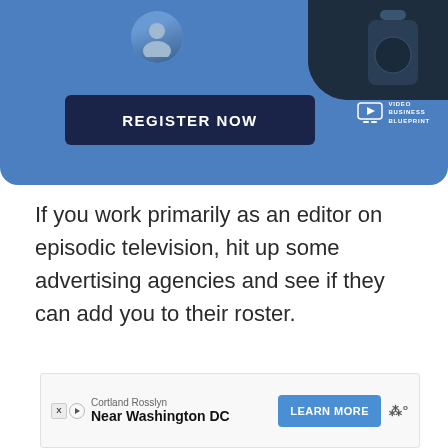[Figure (screenshot): Blue promotional banner with a 'REGISTER NOW' button in dark navy, a circular profile photo on the left, a dark photo on the right, and a Video Business Blueprint logo at bottom right.]
If you work primarily as an editor on episodic television, hit up some advertising agencies and see if they can add you to their roster.
[Figure (screenshot): Advertisement bar showing 'Cortland Rosslyn - Near Washington DC' with a blue 'LEARN MORE' button and a menu icon on the right, with ad labels X and play icon on the left.]